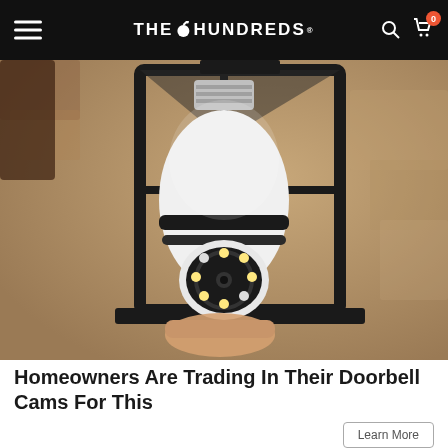THE HUNDREDS
[Figure (photo): A hand installing a white security camera shaped like a light bulb into a black outdoor lantern fixture mounted on a stone/stucco wall. The camera has a circular lens array at the bottom.]
Homeowners Are Trading In Their Doorbell Cams For This
Learn More